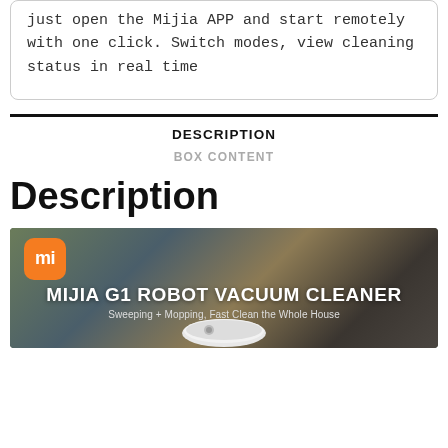just open the Mijia APP and start remotely with one click. Switch modes, view cleaning status in real time
DESCRIPTION
BOX CONTENT
Description
[Figure (photo): Mijia G1 Robot Vacuum Cleaner promotional image with Xiaomi Mi logo (orange rounded square), text 'MIJIA G1 ROBOT VACUUM CLEANER' and subtitle 'Sweeping + Mopping, Fast Clean the Whole House', background showing colorful carpet with robot vacuum at bottom]